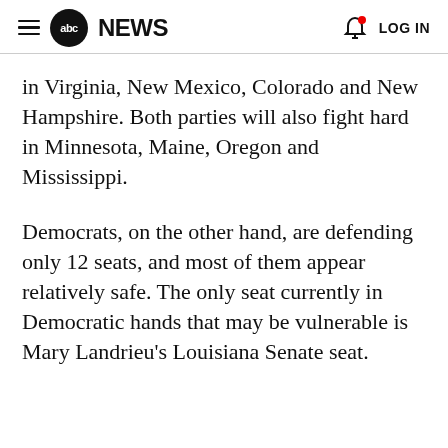abc NEWS  LOG IN
in Virginia, New Mexico, Colorado and New Hampshire. Both parties will also fight hard in Minnesota, Maine, Oregon and Mississippi.
Democrats, on the other hand, are defending only 12 seats, and most of them appear relatively safe. The only seat currently in Democratic hands that may be vulnerable is Mary Landrieu's Louisiana Senate seat.